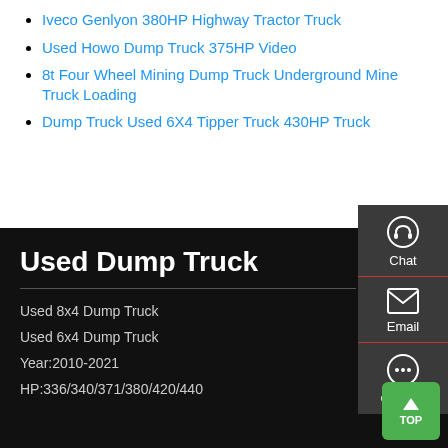Iveco Genlyon 380HP Highway Tractor Truck
Used Howo Dump Truck 375HP Video
8t Four Wheel Mining Dump Truck Underground Mine Truck Loading
Dump Truck Used 6X4 Tipper Truck 430HP Truck
Used Dump Truck
Used 8x4 Dump Truck
Used 6x4 Dump Truck
Year:2010-2021
HP:336/340/371/380/420/440